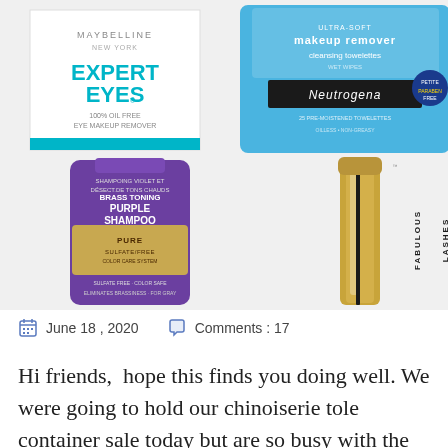[Figure (photo): Four product images in a 2x2 grid: top-left is Maybelline Expert Eyes 100% Oil Free Eye Makeup Remover (white packaging); top-right is Neutrogena Makeup Remover Cleansing Towelettes (blue packaging); bottom-left is Pure Sulfate/Free Brass Toning Purple Shampoo (purple bottle); bottom-right is a gold mascara wand/tube (Fabulous Lashes mascara).]
June 18 , 2020    Comments : 17
Hi friends,  hope this finds you doing well. We were going to hold our chinoiserie tole container sale today but are so busy with the arrival of the huge porcelain container than it’s all hands on deck to get